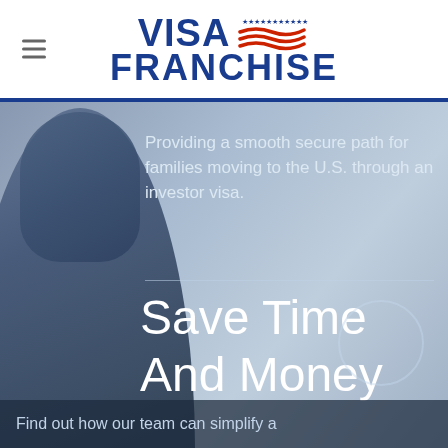≡  VISA FRANCHISE
[Figure (photo): Hero section with a man in a suit smiling, overlaid on a blue-grey background]
Providing a smooth secure path for families moving to the U.S. through an investor visa.
Save Time And Money
Find out how our team can simplify a